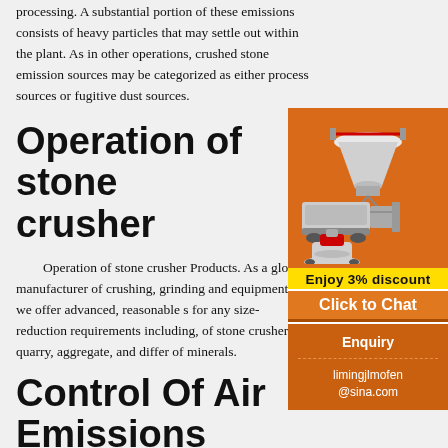processing. A substantial portion of these emissions consists of heavy particles that may settle out within the plant. As in other operations, crushed stone emission sources may be categorized as either process sources or fugitive dust sources.
Operation of stone crusher
Operation of stone crusher Products. As a global manufacturer of crushing, grinding and equipments, we offer advanced, reasonable s for any size-reduction requirements including, of stone crusher, quarry, aggregate, and differ of minerals.
[Figure (illustration): Orange sidebar advertisement showing industrial crushing and grinding machinery (cone crusher, mobile crusher, vertical mill) with 'Enjoy 3% discount' yellow bar and 'Click to Chat' orange button, followed by Enquiry section with email limingjlmofen@sina.com]
Control Of Air Emissions From Process Operatio...